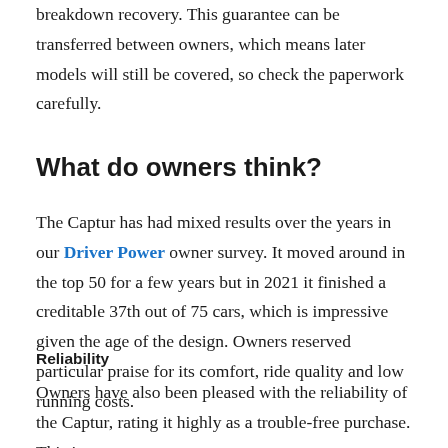breakdown recovery. This guarantee can be transferred between owners, which means later models will still be covered, so check the paperwork carefully.
What do owners think?
The Captur has had mixed results over the years in our Driver Power owner survey. It moved around in the top 50 for a few years but in 2021 it finished a creditable 37th out of 75 cars, which is impressive given the age of the design. Owners reserved particular praise for its comfort, ride quality and low running costs.
Reliability
Owners have also been pleased with the reliability of the Captur, rating it highly as a trouble-free purchase. This is